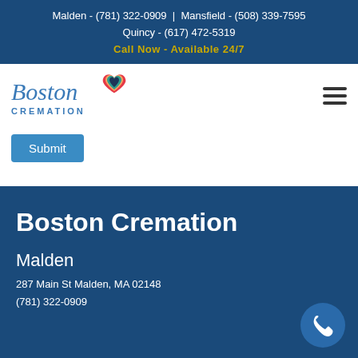Malden - (781) 322-0909 | Mansfield - (508) 339-7595
Quincy - (617) 472-5319
Call Now - Available 24/7
[Figure (logo): Boston Cremation logo with colorful heart icon, italic script 'Boston' and uppercase 'CREMATION' text in blue]
Submit
Boston Cremation
Malden
287 Main St Malden, MA 02148
(781) 322-0909